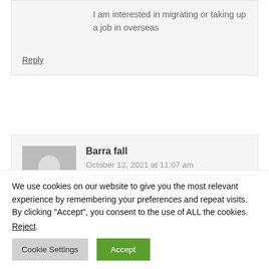I am interested in migrating or taking up a job in overseas
Reply
Barra fall
October 12, 2021 at 11:07 am
We use cookies on our website to give you the most relevant experience by remembering your preferences and repeat visits. By clicking “Accept”, you consent to the use of ALL the cookies. Reject.
Cookie Settings
Accept